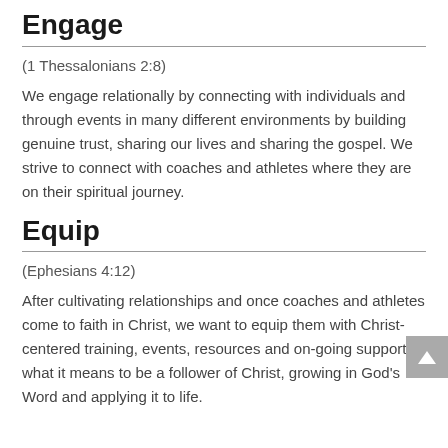Engage
(1 Thessalonians 2:8)
We engage relationally by connecting with individuals and through events in many different environments by building genuine trust, sharing our lives and sharing the gospel. We strive to connect with coaches and athletes where they are on their spiritual journey.
Equip
(Ephesians 4:12)
After cultivating relationships and once coaches and athletes come to faith in Christ, we want to equip them with Christ-centered training, events, resources and on-going support in what it means to be a follower of Christ, growing in God's Word and applying it to life.